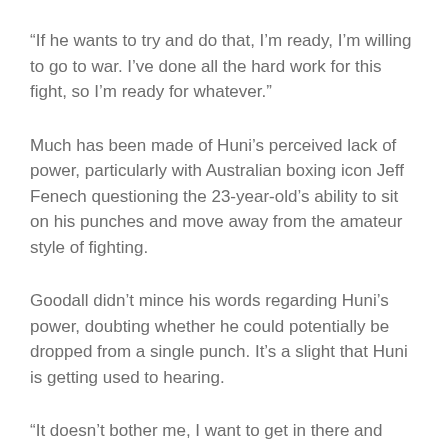“If he wants to try and do that, I’m ready, I’m willing to go to war. I’ve done all the hard work for this fight, so I’m ready for whatever.”
Much has been made of Huni’s perceived lack of power, particularly with Australian boxing icon Jeff Fenech questioning the 23-year-old’s ability to sit on his punches and move away from the amateur style of fighting.
Goodall didn’t mince his words regarding Huni’s power, doubting whether he could potentially be dropped from a single punch. It’s a slight that Huni is getting used to hearing.
“It doesn’t bother me, I want to get in there and prove everyone wrong,” he said.
“You don’t need to know the rest, suggested the best M...